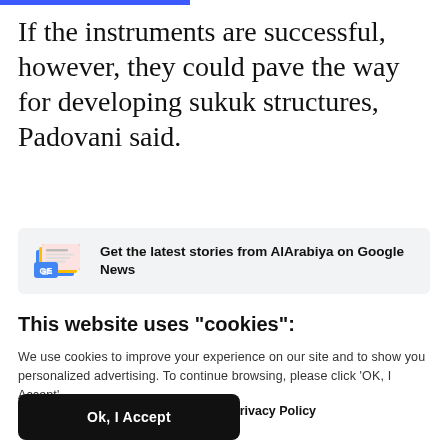If the instruments are successful, however, they could pave the way for developing sukuk structures, Padovani said.
[Figure (logo): Google News logo icon with colorful folded newspaper and GN badge]
Get the latest stories from AlArabiya on Google News
This website uses "cookies":
We use cookies to improve your experience on our site and to show you personalized advertising. To continue browsing, please click 'OK, I Accept'.
For more information, please read our Privacy Policy
Ok, I Accept